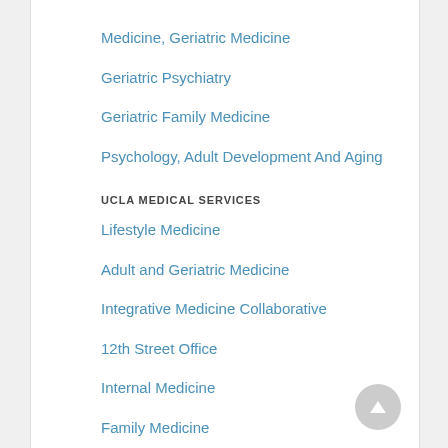Medicine, Geriatric Medicine
Geriatric Psychiatry
Geriatric Family Medicine
Psychology, Adult Development And Aging
UCLA MEDICAL SERVICES
Lifestyle Medicine
Adult and Geriatric Medicine
Integrative Medicine Collaborative
12th Street Office
Internal Medicine
Family Medicine
15th Street Plaza Office
Urgent Care